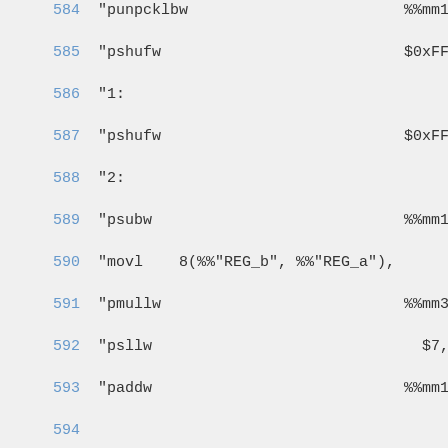584   "punpcklbw                        %%mm1,
585   "pshufw                           $0xFF,
586   "1:
587   "pshufw                           $0xFF,
588   "2:
589   "psubw                            %%mm1,
590   "movl    8(%%"REG_b", %%"REG_a"),
591   "pmullw                           %%mm3,
592   "psllw                              $7,
593   "paddw                            %%mm1,
594
595   "movq                             %%mm0,
596
597   "add                                $8,
598   // End
599   "9: